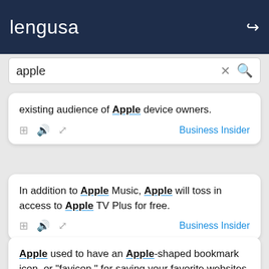lengusa
apple
existing audience of Apple device owners.
In addition to Apple Music, Apple will toss in access to Apple TV Plus for free.
Apple used to have an Apple-shaped bookmark icon, or "favicon," for saving your favorite websites.